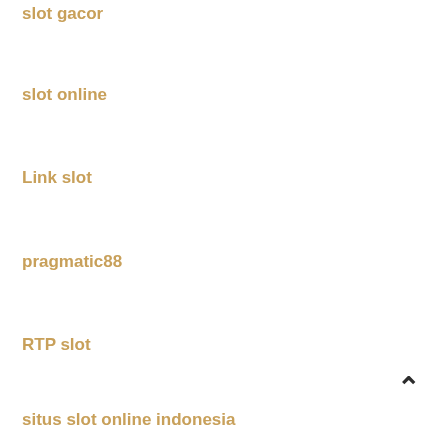slot gacor
slot online
Link slot
pragmatic88
RTP slot
situs slot online indonesia